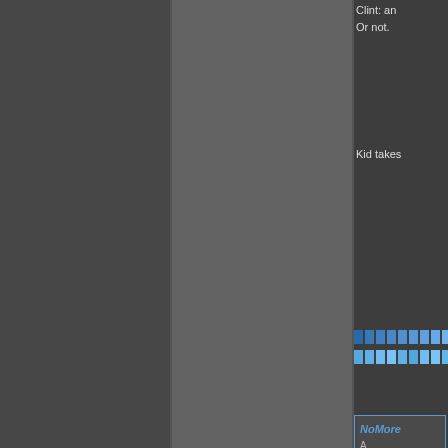Clint: and Or not.
Kid takes
[Figure (other): Color grid of blue/teal squares arranged in a grid]
NoMore
=
Login or register to post comments
#4
Answers in Gene...
High Level Donor
[Figure (photo): Outdoor photo of a bronze/green statue or sculpture against a winter sky with bare trees]
p { marg
p { marg
Luminon of crazy, bench. L